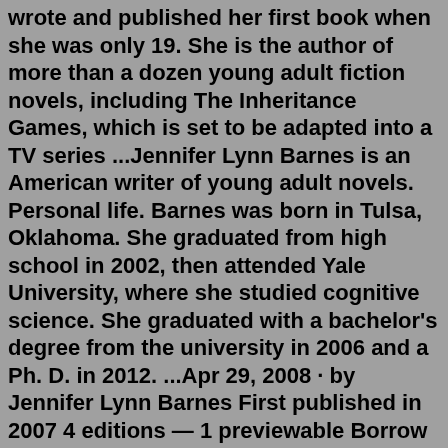wrote and published her first book when she was only 19. She is the author of more than a dozen young adult fiction novels, including The Inheritance Games, which is set to be adapted into a TV series ...Jennifer Lynn Barnes is an American writer of young adult novels. Personal life. Barnes was born in Tulsa, Oklahoma. She graduated from high school in 2002, then attended Yale University, where she studied cognitive science. She graduated with a bachelor's degree from the university in 2006 and a Ph. D. in 2012. ...Apr 29, 2008 · by Jennifer Lynn Barnes First published in 2007 4 editions — 1 previewable Borrow Listen. Raised by Wolves. by Jennifer Lynn Barnes First published in 2010 ... Mar 05, 2022 · Jennifer Lynn Barnes, born January 4 th, 1962, passed away at Johns Hopkins Hospital on March 5, 2022. She was surrounded by her adoring family and friends. Memorial and celebration of life services will be held in Baltimore and Georgia, details will be announced at a later date. Donations can be made to one of her favorite charities; Mar 05, 2022 ·